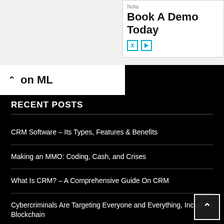[Figure (screenshot): Advertisement box with 'Nota' label, 'Book A Demo Today' heading, and two teal icon buttons (X and play)]
on ML
RECENT POSTS
CRM Software – Its Types, Features & Benefits
Making an MMO: Coding, Cash, and Crises
What Is CRM? – A Comprehensive Guide On CRM
Cybercriminals Are Targeting Everyone and Everything, Including Blockchain